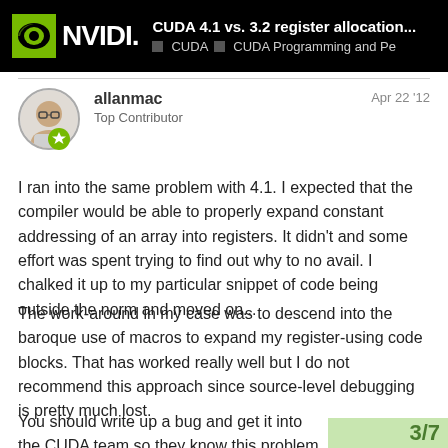CUDA 4.1 vs. 3.2 register allocation... ■ CUDA ■ CUDA Programming and Pe
[Figure (logo): NVIDIA logo with green eye icon on black background]
allanmac
Top Contributor
Apr 22 '12
I ran into the same problem with 4.1. I expected that the compiler would be able to properly expand constant addressing of an array into registers. It didn't and some effort was spent trying to find out why to no avail. I chalked it up to my particular snippet of code being outside the norm and moved on...
The work-around in my case was to descend into the baroque use of macros to expand my register-using code blocks. That has worked really well but I do not recommend this approach since source-level debugging is pretty much lost.
You should write up a bug and get it into the CUDA team so they know this problem exists. You s